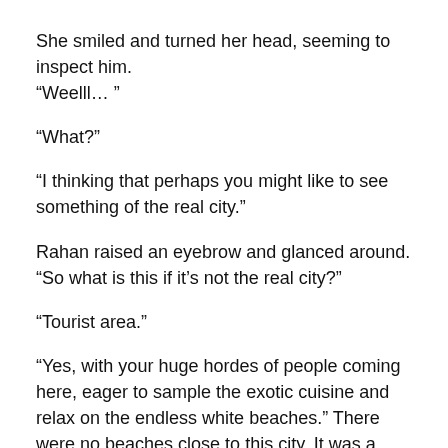She smiled and turned her head, seeming to inspect him. “Weelll… ”
“What?”
“I thinking that perhaps you might like to see something of the real city.”
Rahan raised an eyebrow and glanced around. “So what is this if it’s not the real city?”
“Tourist area.”
“Yes, with your huge hordes of people coming here, eager to sample the exotic cuisine and relax on the endless white beaches.” There were no beaches close to this city. It was a seaport, but all the shore areas nearby seemed to be in wholly utilitarian use. Rahan had gotten the